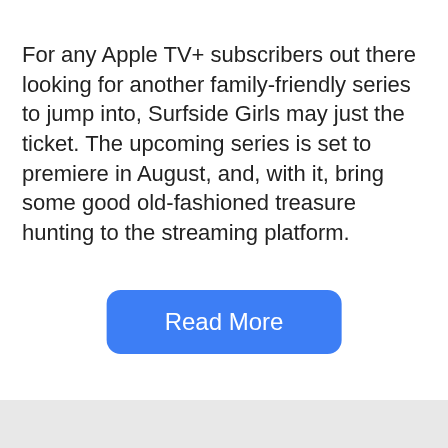For any Apple TV+ subscribers out there looking for another family-friendly series to jump into, Surfside Girls may just the ticket. The upcoming series is set to premiere in August, and, with it, bring some good old-fashioned treasure hunting to the streaming platform.
Read More